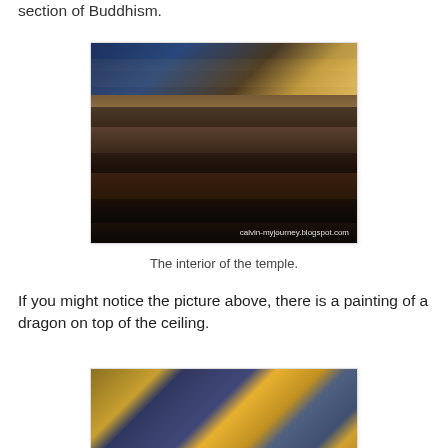Kinnoji is one of the three largest headquarters of the Tendai section of Buddhism.
[Figure (photo): Interior of a Buddhist temple showing ornate golden altar decorations, ceiling painting of a dragon, statues, and red lanterns. Watermark: calvin-myjourney.blogspot.com]
The interior of the temple.
If you might notice the picture above, there is a painting of a dragon on top of the ceiling.
[Figure (photo): Close-up photograph of the dragon ceiling painting showing golden dragon against a dark blue and grey stormy background.]